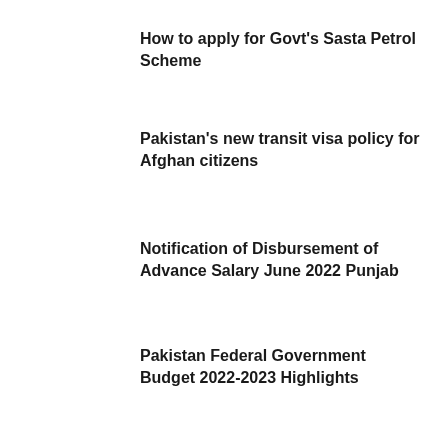How to apply for Govt's Sasta Petrol Scheme
Pakistan's new transit visa policy for Afghan citizens
Notification of Disbursement of Advance Salary June 2022 Punjab
Pakistan Federal Government Budget 2022-2023 Highlights